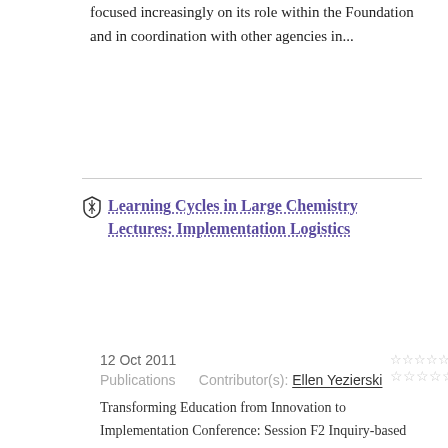focused increasingly on its role within the Foundation and in coordination with other agencies in...
Learning Cycles in Large Chemistry Lectures: Implementation Logistics
0.0 out of 5 stars
12 Oct 2011
Publications    Contributor(s): Ellen Yezierski
Transforming Education from Innovation to Implementation Conference: Session F2 Inquiry-based instruction employing the learning cycle is theoretically grounded in constructivism (1) and social constructivism (2) as well as empirically supported in research conducted in learning